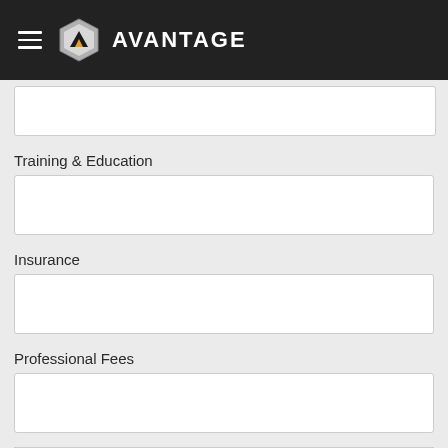AVANTAGE
Training & Education
Insurance
Professional Fees